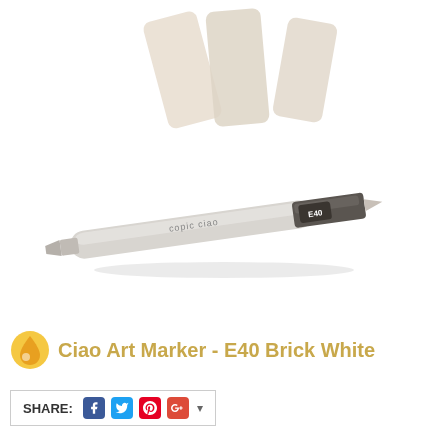[Figure (photo): Copic Ciao Art Marker E40 Brick White with color swatches showing a light warm beige/cream color above the marker. The marker is white/light gray with a dark gray cap on the brush end labeled E40.]
Copic Ciao Art Marker - E40 Brick White
SHARE: [Facebook] [Twitter] [Pinterest] [Google+] [dropdown]